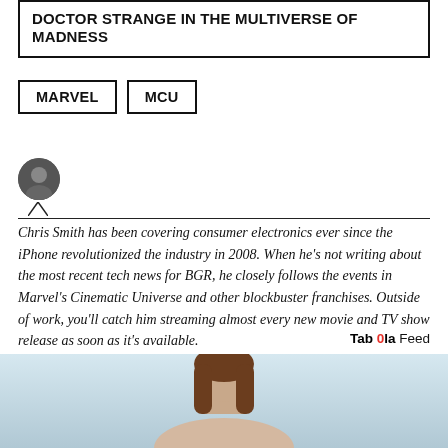DOCTOR STRANGE IN THE MULTIVERSE OF MADNESS
MARVEL
MCU
[Figure (photo): Circular author avatar photo of Chris Smith, black and white portrait]
Chris Smith has been covering consumer electronics ever since the iPhone revolutionized the industry in 2008. When he's not writing about the most recent tech news for BGR, he closely follows the events in Marvel's Cinematic Universe and other blockbuster franchises. Outside of work, you'll catch him streaming almost every new movie and TV show release as soon as it's available.
Taboola Feed
[Figure (photo): Bottom portion of page showing a woman with brown hair against a light blue background, cropped at shoulders/head]